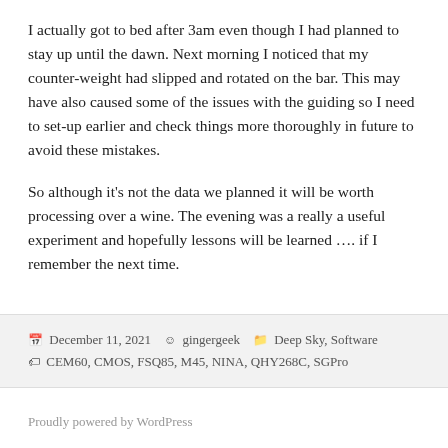I actually got to bed after 3am even though I had planned to stay up until the dawn. Next morning I noticed that my counter-weight had slipped and rotated on the bar. This may have also caused some of the issues with the guiding so I need to set-up earlier and check things more thoroughly in future to avoid these mistakes.
So although it's not the data we planned it will be worth processing over a wine. The evening was a really a useful experiment and hopefully lessons will be learned …. if I remember the next time.
December 11, 2021  gingergeek  Deep Sky, Software  CEM60, CMOS, FSQ85, M45, NINA, QHY268C, SGPro
Proudly powered by WordPress